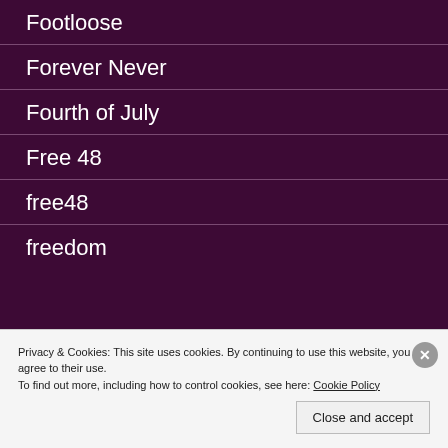Footloose
Forever Never
Fourth of July
Free 48
free48
freedom
Privacy & Cookies: This site uses cookies. By continuing to use this website, you agree to their use. To find out more, including how to control cookies, see here: Cookie Policy
Close and accept